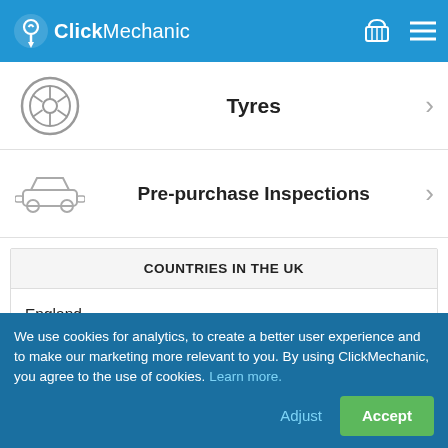ClickMechanic
Tyres
Pre-purchase Inspections
| COUNTRIES IN THE UK |
| --- |
| England |
We use cookies for analytics, to create a better user experience and to make our marketing more relevant to you. By using ClickMechanic, you agree to the use of cookies. Learn more.